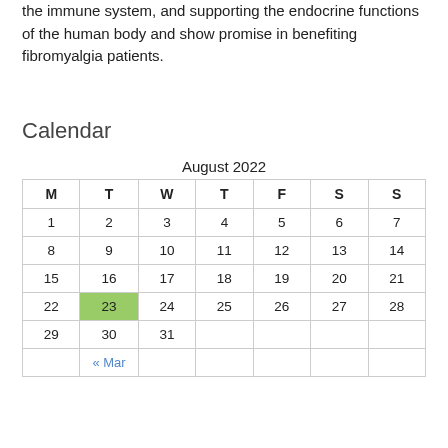the immune system, and supporting the endocrine functions of the human body and show promise in benefiting fibromyalgia patients.
Calendar
| M | T | W | T | F | S | S |
| --- | --- | --- | --- | --- | --- | --- |
| 1 | 2 | 3 | 4 | 5 | 6 | 7 |
| 8 | 9 | 10 | 11 | 12 | 13 | 14 |
| 15 | 16 | 17 | 18 | 19 | 20 | 21 |
| 22 | 23 | 24 | 25 | 26 | 27 | 28 |
| 29 | 30 | 31 |  |  |  |  |
|  | « Mar |  |  |  |  |  |